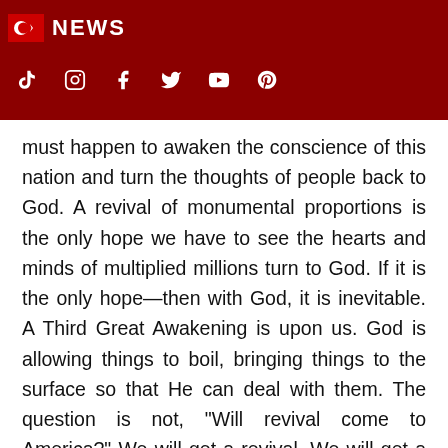NEWS (with social icons: TikTok, Instagram, Facebook, Twitter, YouTube, Pinterest)
must happen to awaken the conscience of this nation and turn the thoughts of people back to God. A revival of monumental proportions is the only hope we have to see the hearts and minds of multiplied millions turn to God. If it is the only hope—then with God, it is inevitable. A Third Great Awakening is upon us. God is allowing things to boil, bringing things to the surface so that He can deal with them. The question is not, "Will revival come to America?" We will get a revival. We will get a Third Great Awakening. The question is, "What is the church going to do with that?" A Great Awakening will require us